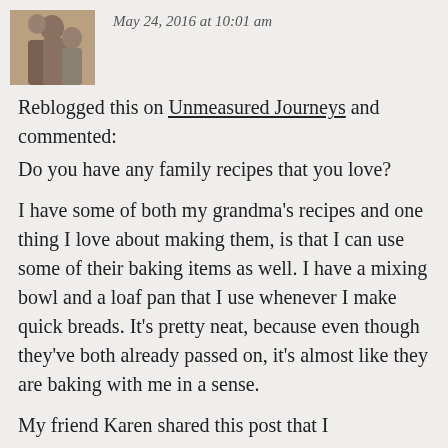May 24, 2016 at 10:01 am
Reblogged this on Unmeasured Journeys and commented:
Do you have any family recipes that you love?

I have some of both my grandma's recipes and one thing I love about making them, is that I can use some of their baking items as well. I have a mixing bowl and a loaf pan that I use whenever I make quick breads. It's pretty neat, because even though they've both already passed on, it's almost like they are baking with me in a sense.

My friend Karen shared this post that I